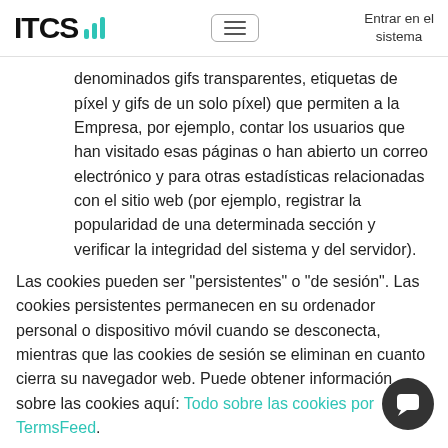ITCS [logo] | [hamburger menu] | Entrar en el sistema
denominados gifs transparentes, etiquetas de píxel y gifs de un solo píxel) que permiten a la Empresa, por ejemplo, contar los usuarios que han visitado esas páginas o han abierto un correo electrónico y para otras estadísticas relacionadas con el sitio web (por ejemplo, registrar la popularidad de una determinada sección y verificar la integridad del sistema y del servidor).
Las cookies pueden ser "persistentes" o "de sesión". Las cookies persistentes permanecen en su ordenador personal o dispositivo móvil cuando se desconecta, mientras que las cookies de sesión se eliminan en cuanto cierra su navegador web. Puede obtener información sobre las cookies aquí: Todo sobre las cookies por TermsFeed.